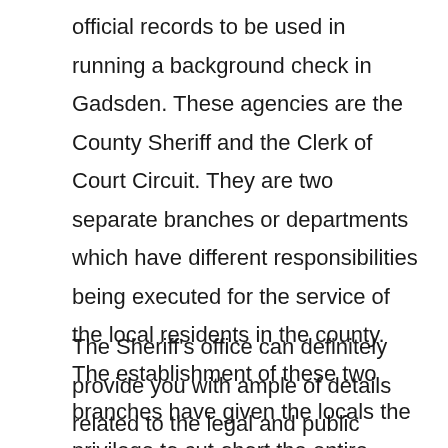official records to be used in running a background check in Gadsden. These agencies are the County Sheriff and the Clerk of Court Circuit. They are two separate branches or departments which have different responsibilities being executed for the service of the local residents in the county. The establishment of these two branches have given the locals the privilege to cut-short the entire process in performing the search given the fact that requests can now be done at the county level.
The Sheriff's office can definitely provide you with ample of details related to the legal and public documents. They are composed bureaus including the law enforcement, investigations and corrections. The Law